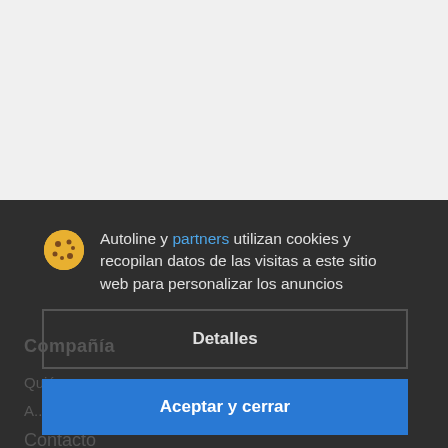[Figure (screenshot): Light grey background area representing a webpage content area above the cookie consent overlay]
Autoline y partners utilizan cookies y recopilan datos de las visitas a este sitio web para personalizar los anuncios
Detalles
Aceptar y cerrar